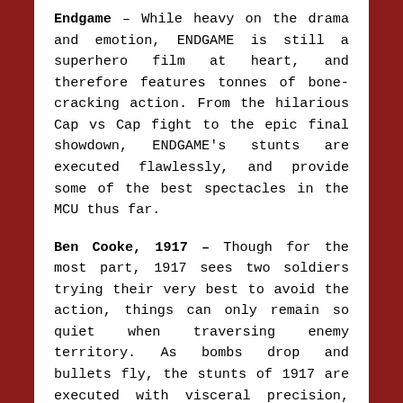Endgame – While heavy on the drama and emotion, ENDGAME is still a superhero film at heart, and therefore features tonnes of bone-cracking action. From the hilarious Cap vs Cap fight to the epic final showdown, ENDGAME's stunts are executed flawlessly, and provide some of the best spectacles in the MCU thus far.
Ben Cooke, 1917 – Though for the most part, 1917 sees two soldiers trying their very best to avoid the action, things can only remain so quiet when traversing enemy territory. As bombs drop and bullets fly, the stunts of 1917 are executed with visceral precision, and are made all the more impressive by the unyielding cinematography.
Robert Nagle, Ford v Ferrari – Recreating the